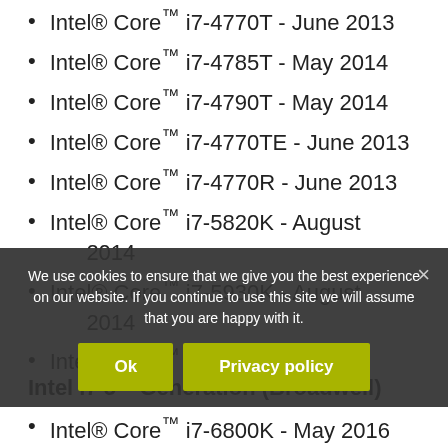Intel® Core™ i7-4770T - June 2013
Intel® Core™ i7-4785T - May 2014
Intel® Core™ i7-4790T - May 2014
Intel® Core™ i7-4770TE - June 2013
Intel® Core™ i7-4770R - June 2013
Intel® Core™ i7-5820K - August 2014
Intel® Core™ i7-5930K - August 2014
Intel® Core™ i7-5960K - August 2014
Intel i7 5th Generation (Broadwell)
Intel® Core™ i7-6800K - May 2016
We use cookies to ensure that we give you the best experience on our website. If you continue to use this site we will assume that you are happy with it.